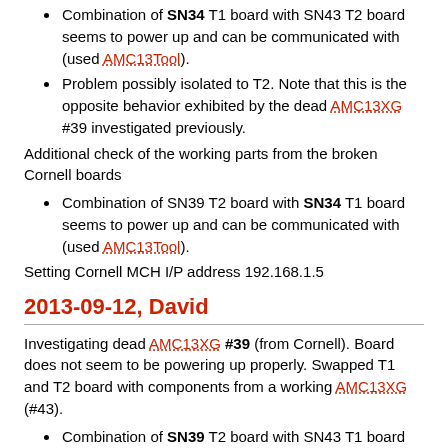Combination of SN34 T1 board with SN43 T2 board seems to power up and can be communicated with (used AMC13Tool).
Problem possibly isolated to T2. Note that this is the opposite behavior exhibited by the dead AMC13XG #39 investigated previously.
Additional check of the working parts from the broken Cornell boards
Combination of SN39 T2 board with SN34 T1 board seems to power up and can be communicated with (used AMC13Tool).
Setting Cornell MCH I/P address 192.168.1.5
2013-09-12, David
Investigating dead AMC13XG #39 (from Cornell). Board does not seem to be powering up properly. Swapped T1 and T2 board with components from a working AMC13XG (#43).
Combination of SN39 T2 board with SN43 T1 board seems to power up and can be communicated with